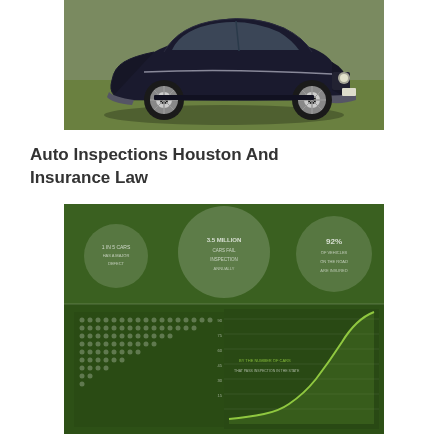[Figure (photo): A classic dark navy/black vintage car parked on green grass, photographed from a front-three-quarter angle. The car has chrome details, round headlights, and a flowing coupe body style.]
Auto Inspections Houston And Insurance Law
[Figure (infographic): A dark green infographic showing insurance or statistical data with bubble charts at the top (three circles of varying sizes with text labels), and a grid/dot matrix on the bottom left with a rising curve chart on the bottom right. Text labels are present but blurred/illegible.]
Martinez Auto Insurance, Houston, Old American Sports Motor...